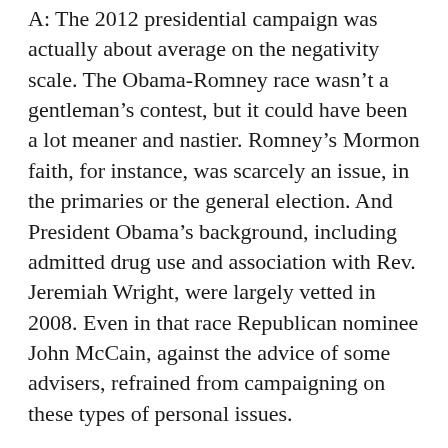A: The 2012 presidential campaign was actually about average on the negativity scale. The Obama-Romney race wasn't a gentleman's contest, but it could have been a lot meaner and nastier. Romney's Mormon faith, for instance, was scarcely an issue, in the primaries or the general election. And President Obama's background, including admitted drug use and association with Rev. Jeremiah Wright, were largely vetted in 2008. Even in that race Republican nominee John McCain, against the advice of some advisers, refrained from campaigning on these types of personal issues.
When in 2012 the candidates did spar most aggressively, at the debates, it was mostly over substance. Particularly at the second, “town hall” faceoff on Long Island, N.Y., Obama and Romney went at each other over relations with Russia, trade with China, tax cuts/budget priorities and